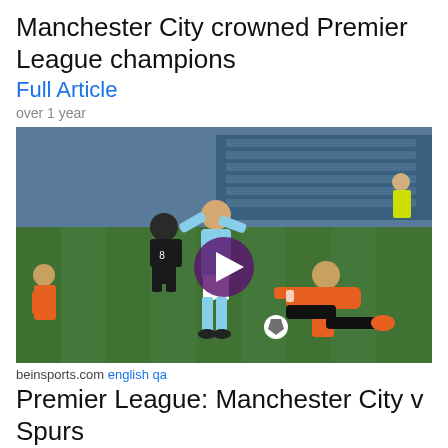Manchester City crowned Premier League champions
Full Article
over 1 year
[Figure (photo): Football match scene: Manchester City player in light blue kit celebrating/running, goalkeeper in orange kit on the ground, stadium with blue seats in background, play button overlay indicating video content]
beinsports.com english qa
Premier League: Manchester City v Spurs